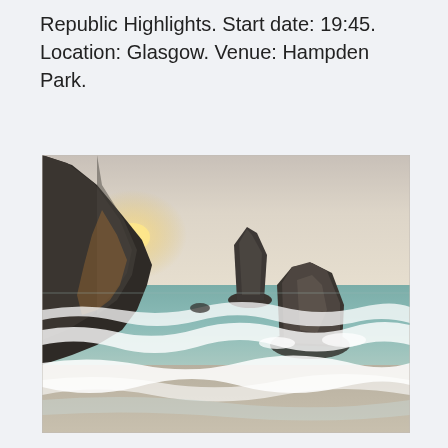Republic Highlights. Start date: 19:45. Location: Glasgow. Venue: Hampden Park.
[Figure (photo): Coastal landscape photo showing rocky cliffs on the left with a glowing sunset behind them, large rocks in the sea, and waves washing onto a sandy beach in the foreground. The sky is hazy and light-toned.]